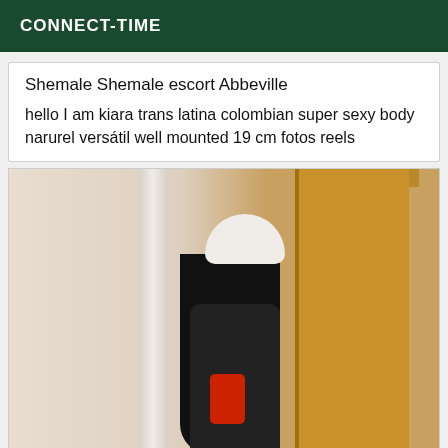CONNECT-TIME
Shemale Shemale escort Abbeville
hello I am kiara trans latina colombian super sexy body narurel versátil well mounted 19 cm fotos reels
[Figure (photo): Person wearing a white beanie hat and glasses, with long black hair, wearing a dark plaid jacket and red top, leaning against a wall next to a wooden door]